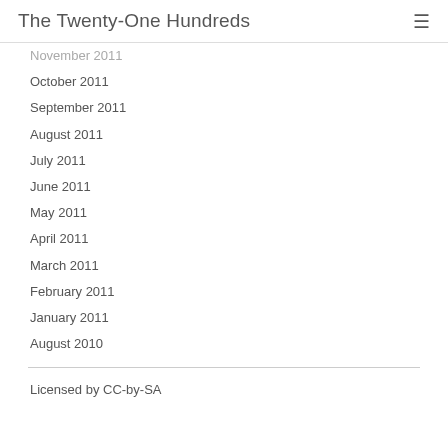The Twenty-One Hundreds
November 2011
October 2011
September 2011
August 2011
July 2011
June 2011
May 2011
April 2011
March 2011
February 2011
January 2011
August 2010
Licensed by CC-by-SA